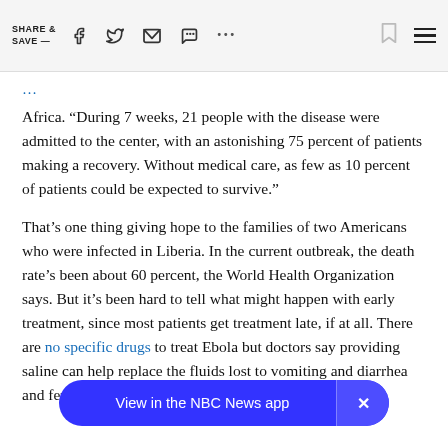SHARE & SAVE —  [social icons: facebook, twitter, email, chat, more, bookmark, menu]
Africa. “During 7 weeks, 21 people with the disease were admitted to the center, with an astonishing 75 percent of patients making a recovery. Without medical care, as few as 10 percent of patients could be expected to survive.”
That’s one thing giving hope to the families of two Americans who were infected in Liberia. In the current outbreak, the death rate’s been about 60 percent, the World Health Organization says. But it’s been hard to tell what might happen with early treatment, since most patients get treatment late, if at all. There are no specific drugs to treat Ebola but doctors say providing saline can help replace the fluids lost to vomiting and diarrhea and fever re[ducers and other supportive meas]tures.